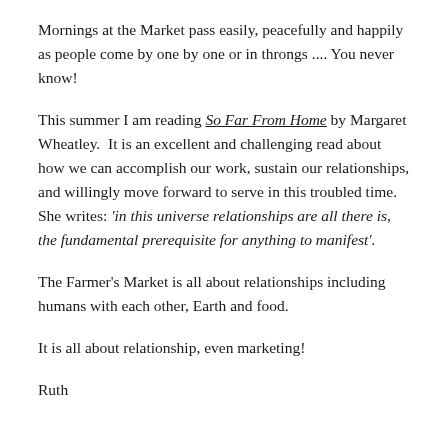Mornings at the Market pass easily, peacefully and happily as people come by one by one or in throngs .... You never know!
This summer I am reading So Far From Home by Margaret Wheatley.  It is an excellent and challenging read about how we can accomplish our work, sustain our relationships, and willingly move forward to serve in this troubled time.  She writes: 'in this universe relationships are all there is, the fundamental prerequisite for anything to manifest'.
The Farmer's Market is all about relationships including humans with each other, Earth and food.
It is all about relationship, even marketing!
Ruth